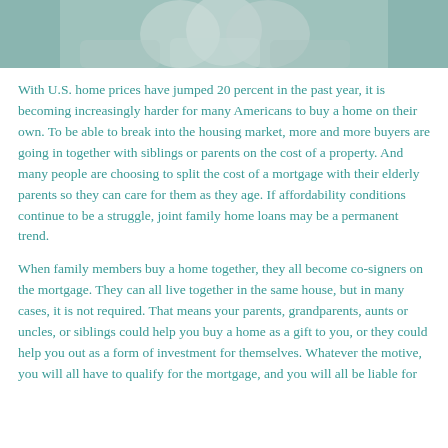[Figure (photo): Cropped photo of elderly people, likely a family group, shown from torso up]
With U.S. home prices have jumped 20 percent in the past year, it is becoming increasingly harder for many Americans to buy a home on their own. To be able to break into the housing market, more and more buyers are going in together with siblings or parents on the cost of a property. And many people are choosing to split the cost of a mortgage with their elderly parents so they can care for them as they age. If affordability conditions continue to be a struggle, joint family home loans may be a permanent trend.
When family members buy a home together, they all become co-signers on the mortgage. They can all live together in the same house, but in many cases, it is not required. That means your parents, grandparents, aunts or uncles, or siblings could help you buy a home as a gift to you, or they could help you out as a form of investment for themselves. Whatever the motive, you will all have to qualify for the mortgage, and you will all be liable for